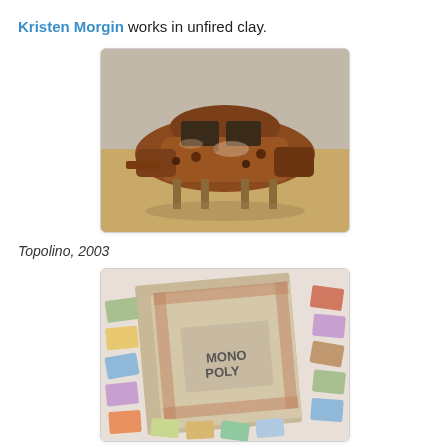Kristen Morgin works in unfired clay.
[Figure (photo): A rust-covered, deteriorating clay sculpture of a small vintage car (resembling a Fiat 500/Topolino) without wheels, supported on wooden blocks, displayed in a gallery setting on a hardwood floor.]
Topolino, 2003
[Figure (photo): A clay sculpture of a Monopoly board game laid out on a white surface, with game board, property cards, currency, and game pieces all rendered in aged, weathered unfired clay.]